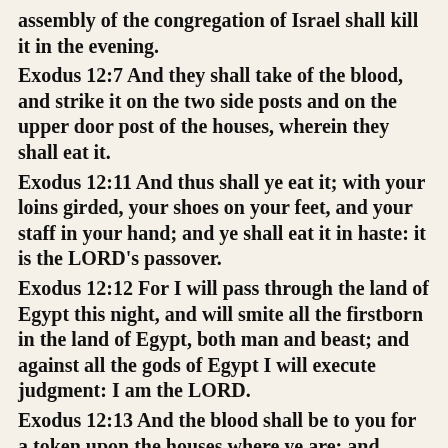assembly of the congregation of Israel shall kill it in the evening.
Exodus 12:7 And they shall take of the blood, and strike it on the two side posts and on the upper door post of the houses, wherein they shall eat it.
Exodus 12:11 And thus shall ye eat it; with your loins girded, your shoes on your feet, and your staff in your hand; and ye shall eat it in haste: it is the LORD's passover.
Exodus 12:12 For I will pass through the land of Egypt this night, and will smite all the firstborn in the land of Egypt, both man and beast; and against all the gods of Egypt I will execute judgment: I am the LORD.
Exodus 12:13 And the blood shall be to you for a token upon the houses where ye are: and when I see the blood, I will pass over you, and the plague shall not be upon you to destroy you, when I smite the land of Egypt.
Exodus 12:14 And this day shall be unto you for a memorial; and ye shall keep it a feast to the LORD